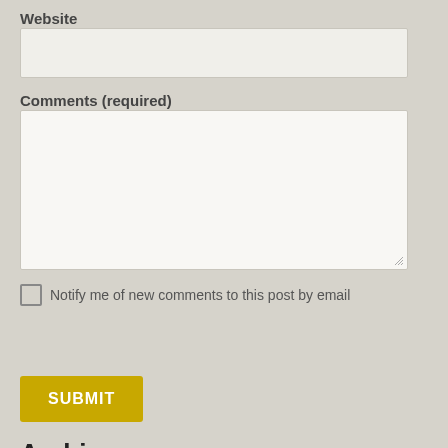Website
Comments (required)
Notify me of new comments to this post by email
SUBMIT
Archives
August 2017
July 2017
June 2017
May 2017